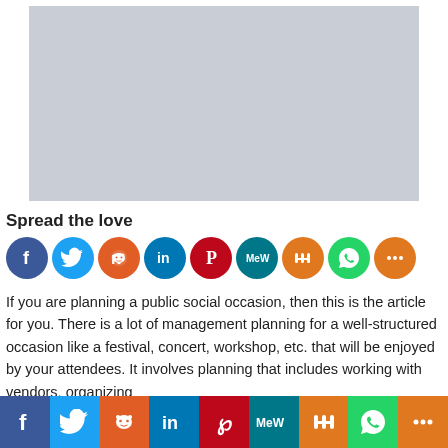[Figure (photo): Gray placeholder image block at top of page]
Spread the love
[Figure (infographic): Row of circular social media share icons: Facebook, Twitter, Reddit, LinkedIn, Pinterest, MeWe, Mix, WhatsApp, Share]
If you are planning a public social occasion, then this is the article for you. There is a lot of management planning for a well-structured occasion like a festival, concert, workshop, etc. that will be enjoyed by your attendees. It involves planning that includes working with vendors, organizing
[Figure (infographic): Bottom social share bar with icons: Facebook, Twitter, Reddit, LinkedIn, Pinterest, MeWe, Mix, WhatsApp, Share]